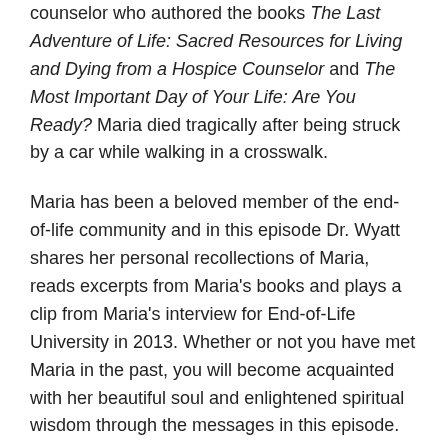counselor who authored the books The Last Adventure of Life: Sacred Resources for Living and Dying from a Hospice Counselor and The Most Important Day of Your Life: Are You Ready? Maria died tragically after being struck by a car while walking in a crosswalk.
Maria has been a beloved member of the end-of-life community and in this episode Dr. Wyatt shares her personal recollections of Maria, reads excerpts from Maria's books and plays a clip from Maria's interview for End-of-Life University in 2013. Whether or not you have met Maria in the past, you will become acquainted with her beautiful soul and enlightened spiritual wisdom through the messages in this episode.
Many blessings to all who love Maria and feel the pain of her absence in this physical plane. Maria left a beautiful legacy for each and every one of us that will continue to guide and